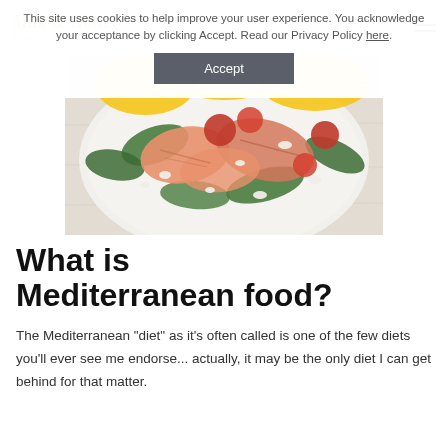This site uses cookies to help improve your user experience. You acknowledge your acceptance by clicking Accept. Read our Privacy Policy here.
[Figure (screenshot): Website header with logo reading 'Milk & Honey NUTRITION' in gold italic serif font on a light beige background, with a hamburger menu icon on the right.]
[Figure (photo): Close-up photo of a Mediterranean salad on a white plate featuring salmon, cherry tomatoes, spinach, crumbled feta cheese, and yellow bell peppers on a white wooden surface.]
What is Mediterranean food?
The Mediterranean "diet" as it's often called is one of the few diets you'll ever see me endorse... actually, it may be the only diet I can get behind for that matter.